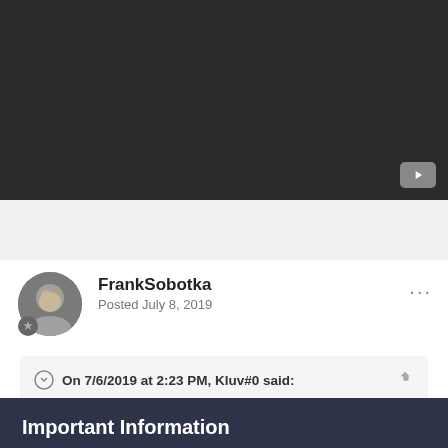[Figure (screenshot): Dark video thumbnail area with a YouTube-style play button in the bottom right corner]
FrankSobotka
Posted July 8, 2019
On 7/6/2019 at 2:23 PM, Kluv#0 said:
Important Information
By using this site, you agree to our Terms of Use and Privacy Policy policies.
✔ I accept